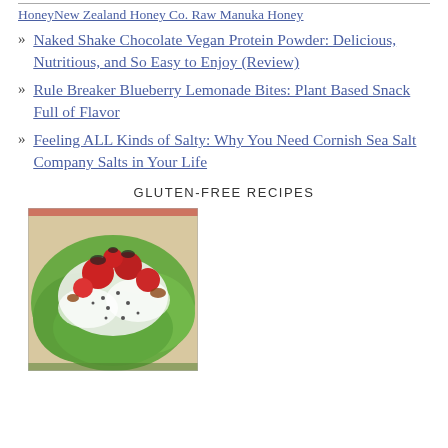HoneyNew Zealand Honey Co. Raw Manuka Honey
Naked Shake Chocolate Vegan Protein Powder: Delicious, Nutritious, and So Easy to Enjoy (Review)
Rule Breaker Blueberry Lemonade Bites: Plant Based Snack Full of Flavor
Feeling ALL Kinds of Salty: Why You Need Cornish Sea Salt Company Salts in Your Life
GLUTEN-FREE RECIPES
[Figure (photo): A colorful salad dish with strawberries, leafy greens, white cream/dressing, and scattered toppings viewed from above]